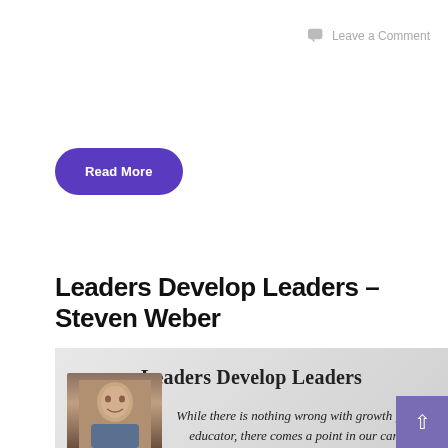Leave a Comment
Read More
Leaders Develop Leaders – Steven Weber
[Figure (illustration): A styled quote image with gray gradient background showing 'Leaders Develop Leaders' as heading, italic quote text reading 'While there is nothing wrong with growth for an educator, there comes a point in our career where we must focus on other educators.' and a photo of a man in the lower left corner. A purple scroll-to-top button is in the bottom right corner.]